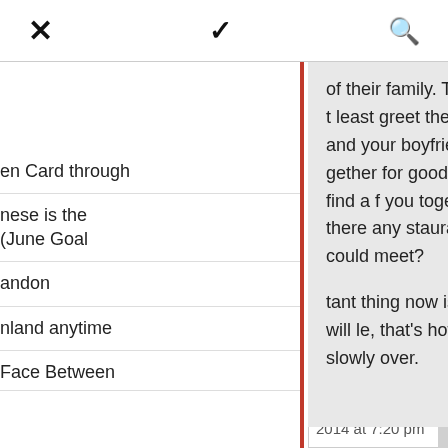[Figure (screenshot): Top navigation bar with X (close), chevron down, and search icons]
of their family. The first time you meet t least greet them in Chinese. The u and your boyfriend can do is to show gether for good. Perhaps he could find a f you together for dinner. Is there any staurants in the area you could meet?
tant thing now is that your boyfriend will le, that's how you hopefully can slowly over.
en Card through
nese is the (June Goal
andon
nland anytime
Face Between
2014 at 7:20 pm